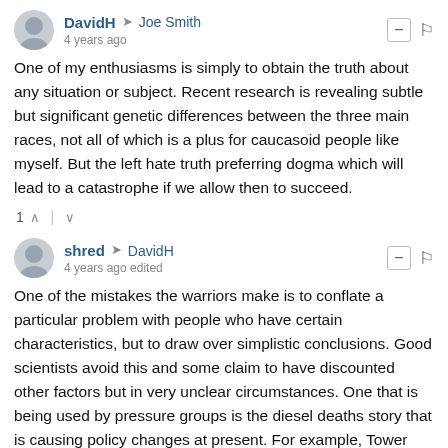DavidH → Joe Smith
4 years ago

One of my enthusiasms is simply to obtain the truth about any situation or subject. Recent research is revealing subtle but significant genetic differences between the three main races, not all of which is a plus for caucasoid people like myself. But the left hate truth preferring dogma which will lead to a catastrophe if we allow then to succeed.
1 ↑ | ↓
shred → DavidH
4 years ago edited

One of the mistakes the warriors make is to conflate a particular problem with people who have certain characteristics, but to draw over simplistic conclusions. Good scientists avoid this and some claim to have discounted other factors but in very unclear circumstances. One that is being used by pressure groups is the diesel deaths story that is causing policy changes at present. For example, Tower Hamlets has poorer air quality than outer London and lifespans are shorter. Therefore air pollution is very deadly.